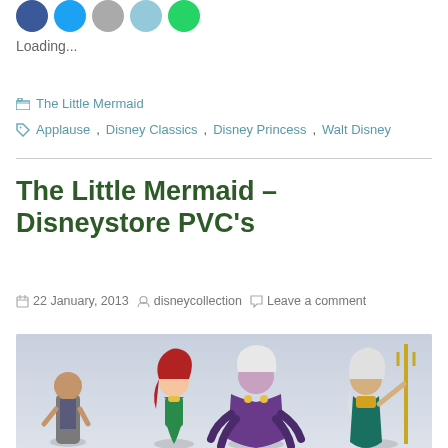[Figure (other): Social share icon circles (blue Facebook, teal Twitter, gray, light blue, green WhatsApp)]
Loading...
The Little Mermaid
Applause, Disney Classics, Disney Princess, Walt Disney
The Little Mermaid – Disneystore PVC's
22 January, 2013  disneycollection  Leave a comment
[Figure (photo): Photo of The Little Mermaid Disneystore PVC figurines including characters from the movie arranged in a row against a light blue-grey background]